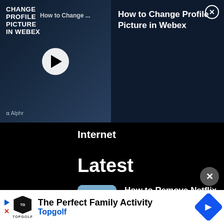[Figure (screenshot): Video thumbnail showing 'How to Change Profile Picture in Webex' with play button, dark blue background, person at laptop, Alphr branding]
How to Change Profile Picture in Webex
Internet
Latest
[Figure (screenshot): Thumbnail for Netflix article showing person with car in outdoor scene]
How to Remove Netflix Recently Watched Shows
Cassandra   July 27, 2022
[Figure (screenshot): Thumbnail for VPN article showing green object]
How to Use a VPN with an
[Figure (screenshot): Advertisement banner for Topgolf: The Perfect Family Activity]